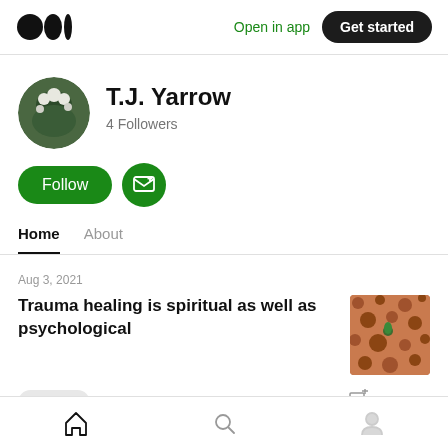Open in app | Get started
T.J. Yarrow
4 Followers
Follow | Subscribe button
Home  About
Aug 3, 2021
Trauma healing is spiritual as well as psychological
Trauma  12 min read
Home | Search | Profile